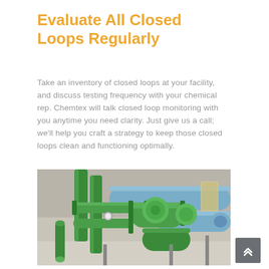Evaluate All Closed Loops Regularly
Take an inventory of closed loops at your facility, and discuss testing frequency with your chemical rep. Chemtex will talk closed loop monitoring with you anytime you need clarity. Just give us a call; we'll help you craft a strategy to keep those closed loops clean and functioning optimally.
[Figure (photo): Industrial closed loop piping system showing green and blue large diameter pipes and fittings in a facility interior.]